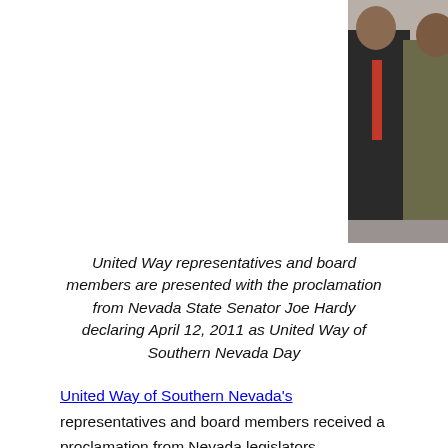[Figure (photo): Group photo of United Way representatives and board members posing with Nevada State Senator Joe Hardy, who is holding a framed proclamation document. Five men in suits are shown against a plain background.]
United Way representatives and board members are presented with the proclamation from Nevada State Senator Joe Hardy declaring April 12, 2011 as United Way of Southern Nevada Day
United Way of Southern Nevada's representatives and board members received a proclamation from Nevada legislators announcing April 12 as the official United Way of Southern Nevada Day. United Way of Southern Nevada and United Way of Northern Nevada and the Sierra hosted a luncheon held at the Nevada Legislative building in Carson